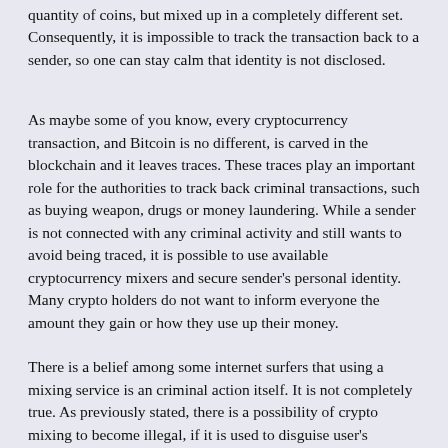quantity of coins, but mixed up in a completely different set. Consequently, it is impossible to track the transaction back to a sender, so one can stay calm that identity is not disclosed.
As maybe some of you know, every cryptocurrency transaction, and Bitcoin is no different, is carved in the blockchain and it leaves traces. These traces play an important role for the authorities to track back criminal transactions, such as buying weapon, drugs or money laundering. While a sender is not connected with any criminal activity and still wants to avoid being traced, it is possible to use available cryptocurrency mixers and secure sender's personal identity. Many crypto holders do not want to inform everyone the amount they gain or how they use up their money.
There is a belief among some internet surfers that using a mixing service is an criminal action itself. It is not completely true. As previously stated, there is a possibility of crypto mixing to become illegal, if it is used to disguise user's criminal activity, otherwise, there is no reason to be concerned. There are many